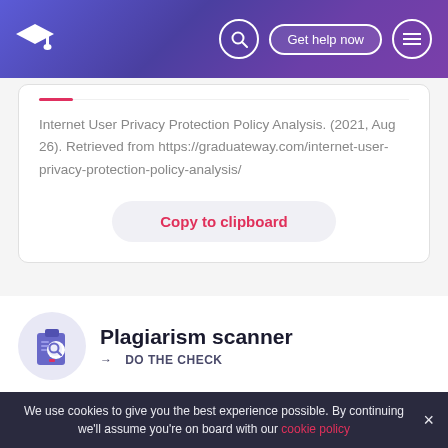[Figure (screenshot): Website header with gradient purple background, graduation cap logo on left, search icon, 'Get help now' button, and hamburger menu icon on right]
Internet User Privacy Protection Policy Analysis. (2021, Aug 26). Retrieved from https://graduateway.com/internet-user-privacy-protection-policy-analysis/
Copy to clipboard
Plagiarism scanner
→ DO THE CHECK
We use cookies to give you the best experience possible. By continuing we'll assume you're on board with our cookie policy